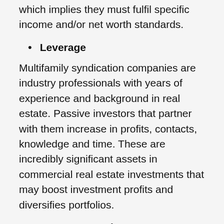which implies they must fulfil specific income and/or net worth standards.
Leverage
Multifamily syndication companies are industry professionals with years of experience and background in real estate. Passive investors that partner with them increase in profits, contacts, knowledge and time. These are incredibly significant assets in commercial real estate investments that may boost investment profits and diversifies portfolios.
Better Properties
One key disadvantage to active investment is the limited number of resources available to one individual. Multifamily investment businesses have the capacity to raise funds from a wide number of real estate investors, meaning a bigger collection